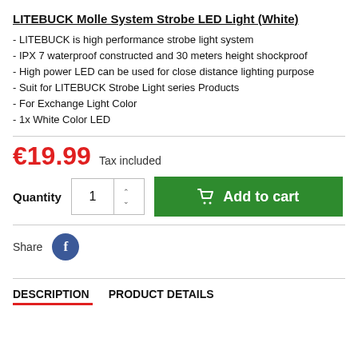LITEBUCK Molle System Strobe LED Light (White)
- LITEBUCK is high performance strobe light system
- IPX 7 waterproof constructed and 30 meters height shockproof
- High power LED can be used for close distance lighting purpose
- Suit for LITEBUCK Strobe Light series Products
- For Exchange Light Color
- 1x White Color LED
€19.99  Tax included
Quantity  1  Add to cart
Share
DESCRIPTION    PRODUCT DETAILS